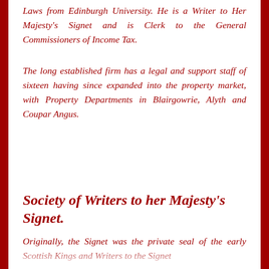Laws from Edinburgh University. He is a Writer to Her Majesty's Signet and is Clerk to the General Commissioners of Income Tax.
The long established firm has a legal and support staff of sixteen having since expanded into the property market, with Property Departments in Blairgowrie, Alyth and Coupar Angus.
Society of Writers to her Majesty's Signet.
Originally, the Signet was the private seal of the early Scottish Kings and Writers to the Signet